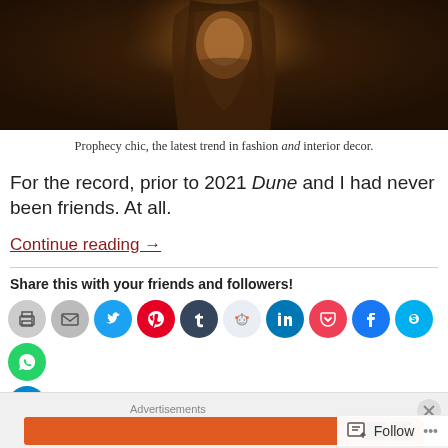[Figure (photo): A person wearing a hooded robe/shawl photographed against a dark background with script text, dimly lit in warm amber tones — scene from the film Dune]
Prophecy chic, the latest trend in fashion and interior decor.
For the record, prior to 2021 Dune and I had never been friends. At all.
Continue reading →
Share this with your friends and followers!
Advertisements
Follow